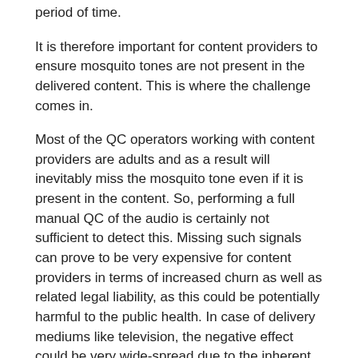period of time.
It is therefore important for content providers to ensure mosquito tones are not present in the delivered content. This is where the challenge comes in.
Most of the QC operators working with content providers are adults and as a result will inevitably miss the mosquito tone even if it is present in the content. So, performing a full manual QC of the audio is certainly not sufficient to detect this. Missing such signals can prove to be very expensive for content providers in terms of increased churn as well as related legal liability, as this could be potentially harmful to the public health. In case of delivery mediums like television, the negative effect could be very wide-spread due to the inherent broadcast nature of the delivery medium.
Therefore, since it is clear that manual QC for detection of these tones will not work, using a QC tool